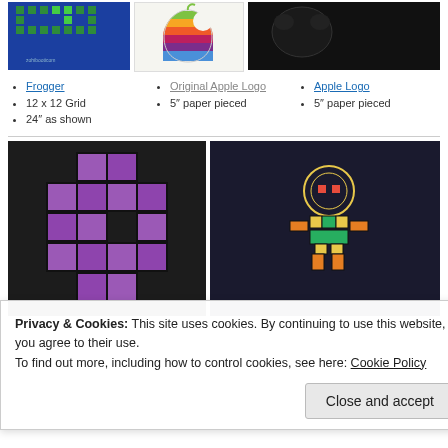[Figure (photo): Minecraft pixel art quilt in blue and green on navy background]
[Figure (photo): Original Apple rainbow logo made from colorful fabric strips, paper pieced quilt block]
[Figure (photo): Black item/fabric on dark background]
Frogger
12 x 12 Grid
24″ as shown
Original Apple Logo
5″ paper pieced
Apple Logo
5″ paper pieced
[Figure (photo): Purple pixel/tetris quilt block on dark background]
[Figure (photo): Metroid character pixel art quilt in yellow, green, orange on navy blue hanging fabric]
Privacy & Cookies: This site uses cookies. By continuing to use this website, you agree to their use.
To find out more, including how to control cookies, see here: Cookie Policy